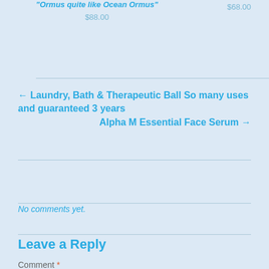"Ormus quite like Ocean Ormus"
$88.00
$68.00
← Laundry, Bath & Therapeutic Ball So many uses and guaranteed 3 years
Alpha M Essential Face Serum →
No comments yet.
Leave a Reply
Comment *